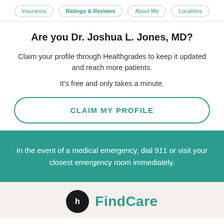Insurance | Ratings & Reviews | About Me | Locations
Are you Dr. Joshua L. Jones, MD?
Claim your profile through Healthgrades to keep it updated and reach more patients.

It's free and only takes a minute.
CLAIM MY PROFILE
In the event of a medical emergency, dial 911 or visit your closest emergency room immediately.
[Figure (logo): FindCare logo with circular black icon and teal FindCare text]